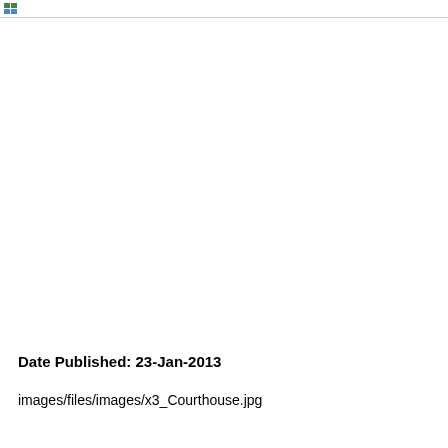Date Published: 23-Jan-2013
images/files/images/x3_Courthouse.jpg